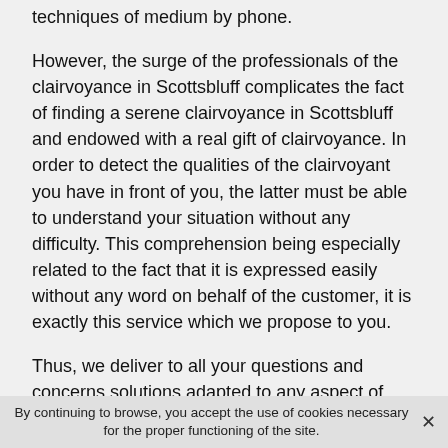techniques of medium by phone.
However, the surge of the professionals of the clairvoyance in Scottsbluff complicates the fact of finding a serene clairvoyance in Scottsbluff and endowed with a real gift of clairvoyance. In order to detect the qualities of the clairvoyant you have in front of you, the latter must be able to understand your situation without any difficulty. This comprehension being especially related to the fact that it is expressed easily without any word on behalf of the customer, it is exactly this service which we propose to you.
Thus, we deliver to all your questions and concerns solutions adapted to any aspect of your life. Let us also admit that our intervention is legitimately turned towards a quality clairvoyance. This discipline includes several
By continuing to browse, you accept the use of cookies necessary for the proper functioning of the site.